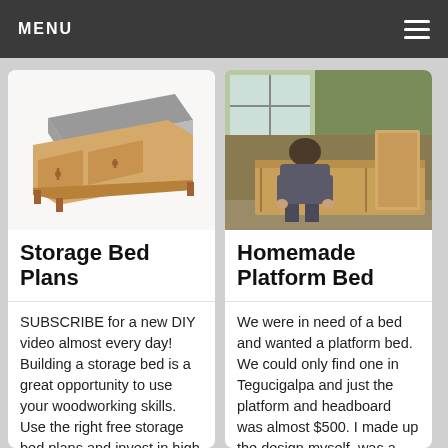MENU
[Figure (illustration): 3D diagram of a storage bed with drawers and mattress, showing wooden frame and storage compartments underneath]
Storage Bed Plans
SUBSCRIBE for a new DIY video almost every day! Building a storage bed is a great opportunity to use your woodworking skills. Use the right free storage bed plans and invest in high quality materials to get a professional result and
[Figure (photo): Person building a homemade platform bed from wood, working inside a room with windows and wooden frame structure visible]
Homemade Platform Bed
We were in need of a bed and wanted a platform bed. We could only find one in Tegucigalpa and just the platform and headboard was almost $500. I made up the design myself, was a little concern if it had all the support it needed,